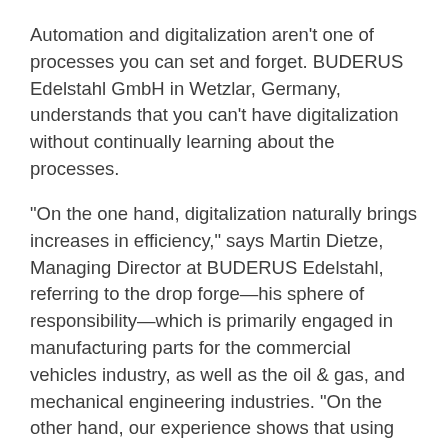Automation and digitalization aren't one of processes you can set and forget. BUDERUS Edelstahl GmbH in Wetzlar, Germany, understands that you can't have digitalization without continually learning about the processes.
“On the one hand, digitalization naturally brings increases in efficiency,” says Martin Dietze, Managing Director at BUDERUS Edelstahl, referring to the drop forge—his sphere of responsibility—which is primarily engaged in manufacturing parts for the commercial vehicles industry, as well as the oil & gas, and mechanical engineering industries. “On the other hand, our experience shows that using robots in the forging process improves product quality. Robots are extremely consistent and reliable, which results not only in increased parts precision, but also in an overall increase of process stability.” However, says Dietze, the effort